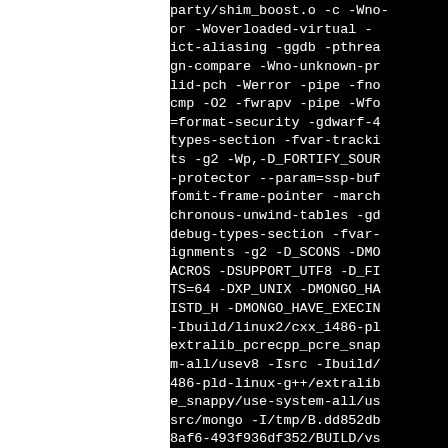party/shim_boost.o -c -Wno-
or -Woverloaded-virtual -
ict-aliasing -ggdb -pthrea
gn-compare -Wno-unknown-pr
lid-pch -Werror -pipe -fno
cmp -O2 -fwrapv -pipe -Wfo
=format-security -gdwarf-4
types-section -fvar-tracki
ts -g2 -Wp,-D_FORTIFY_SOUR
-protector --param=ssp-buf
fomit-frame-pointer -march
chronous-unwind-tables -gd
debug-types-section -fvar-
ignments -g2 -D_SCONS -DMO
ACROS -DSUPPORT_UTF8 -D_FI
TS=64 -DXP_UNIX -DMONGO_HA
ISTD_H -DMONGO_HAVE_EXECIN
-Ibuild/linux2/cxx_i486-pl
extralib_pcrecpp_pcre_snap
m-all/usev8 -Isrc -Ibuild/
486-pld-linux-g++/extralib
e_snappy/use-system-all/us
src/mongo -I/tmp/B.dd852db
8af6-493f936df352/BUILD/vs